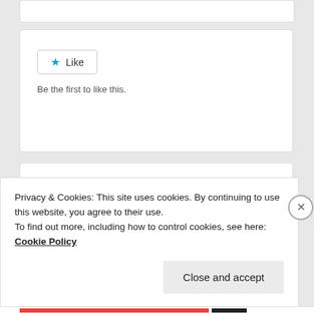[Figure (screenshot): Partial top card, white box with border, cut off at top of page]
[Figure (screenshot): Like button widget card with star icon Like button and text 'Be the first to like this.']
Be the first to like this.
Related
Charles Martin on getting published
Interview with Yvonne Anderson,
Privacy & Cookies: This site uses cookies. By continuing to use this website, you agree to their use.
To find out more, including how to control cookies, see here:
Cookie Policy
Close and accept